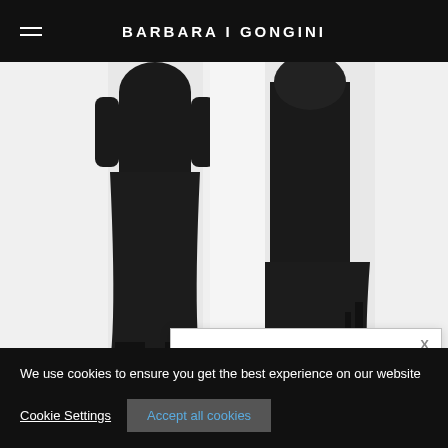BARBARA I GONGINI
[Figure (photo): Two fashion models wearing dark/black wide-leg pants and tops. Left model faces forward, right model is shown from side/behind.]
Wide le... top (righ...
SUBSCRIBE FOR MORE
NAME
We use cookies to ensure you get the best experience on our website
Cookie Settings
Accept all cookies